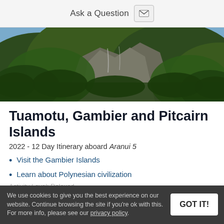Ask a Question
[Figure (photo): Aerial view of green mountainous island terrain with rocky cliffs and vegetation]
Tuamotu, Gambier and Pitcairn Islands
2022 - 12 Day Itinerary aboard Aranui 5
Visit the Gambier Islands
Learn about Polynesian civilization
Visit the grave of John Adams
Explore archaeological sites
We use cookies to give you the best experience on our website. Continue browsing the site if you're ok with this. For more info, please see our privacy policy.